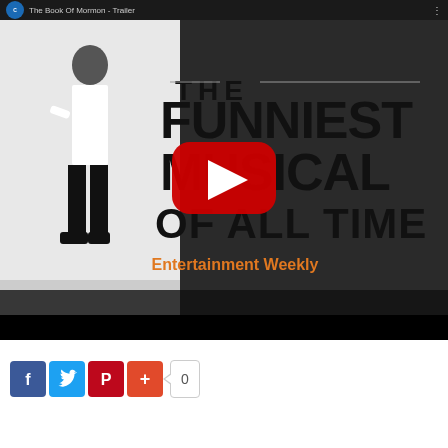[Figure (screenshot): YouTube video thumbnail for 'The Book Of Mormon - Trailer'. Shows text 'THE FUNNIEST MUSICAL OF ALL TIME' with Entertainment Weekly attribution. Red YouTube play button in center. Channel icon visible in top bar.]
[Figure (infographic): Social share buttons row: Facebook (blue), Twitter (cyan), Pinterest (red), More/Plus (red-orange), and a share count bubble showing '0'.]